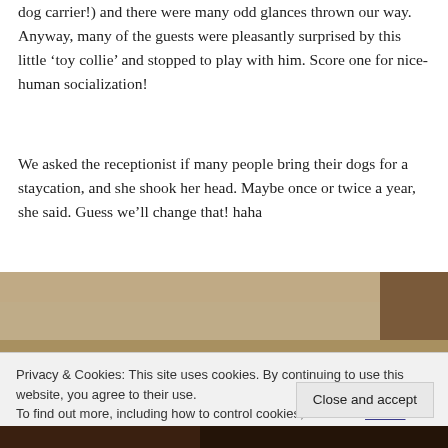dog carrier!) and there were many odd glances thrown our way. Anyway, many of the guests were pleasantly surprised by this little 'toy collie' and stopped to play with him. Score one for nice-human socialization!
We asked the receptionist if many people bring their dogs for a staycation, and she shook her head. Maybe once or twice a year, she said. Guess we'll change that! haha
[Figure (photo): Partial view of a hotel room interior showing beige/tan walls and furnishings]
Privacy & Cookies: This site uses cookies. By continuing to use this website, you agree to their use. To find out more, including how to control cookies, see here: Cookie Policy
[Figure (photo): Bottom strip of a dark interior photo]